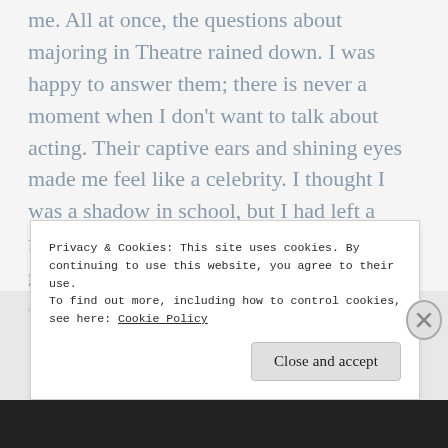me. All at once, the questions about majoring in Theatre rained down. I was happy to answer them; there is never a moment when I don't want to talk about acting. Their captive ears and shining eyes made me feel like a celebrity. I thought I was a shadow in school, but I had left a footprint. I could literally feel my skin glowing with happiness.
This was a very important to me. Imagine. Editing...
Privacy & Cookies: This site uses cookies. By continuing to use this website, you agree to their use.
To find out more, including how to control cookies, see here: Cookie Policy
Close and accept